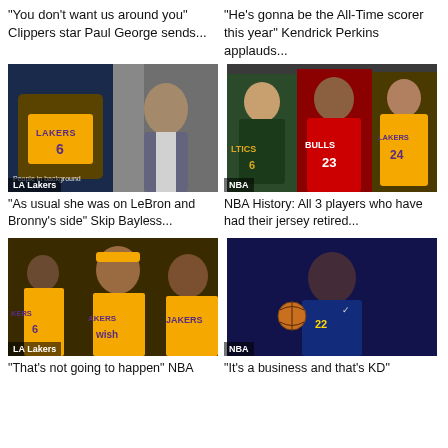“You don’t want us around you” Clippers star Paul George sends...
“He’s gonna be the All-Time scorer this year” Kendrick Perkins applauds...
[Figure (photo): LeBron James in Lakers #6 jersey and a man in a suit, LA Lakers tag]
“As usual she was on LeBron and Bronny’s side” Skip Bayless...
[Figure (photo): Three basketball players in Celtics, Bulls #23, and Lakers #24 jerseys, NBA tag]
NBA History: All 3 players who have had their jersey retired...
[Figure (photo): LeBron James and other Lakers players, LA Lakers tag]
“That’s not going to happen” NBA
[Figure (photo): Basketball player in Warriors #22 jersey dribbling, NBA tag]
“It’s a business and that’s KD”